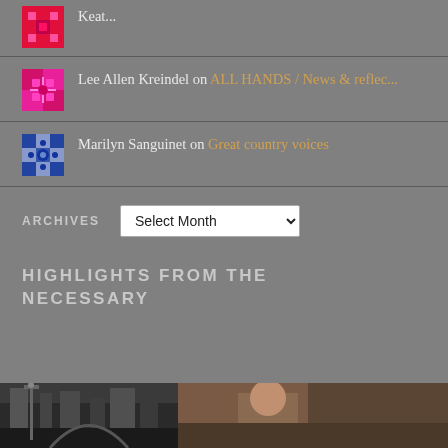Keat...
Lee Allen Kreindel on ALL HANDS / News & reflec...
Marilyn Sanguinet on Great country voices
ARCHIVES
HIGHLIGHTS FROM THE NECESSARY
[Figure (photo): Black and white street photo on the left, color portrait photo on the right]